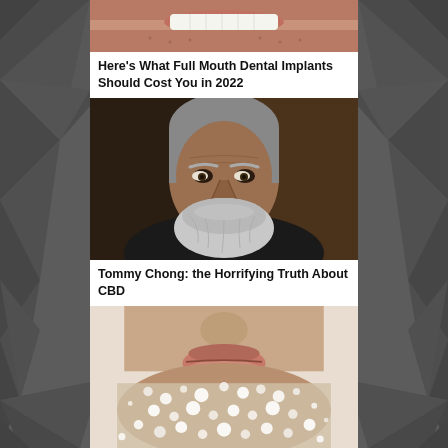[Figure (photo): Close-up photo of a mouth showing white teeth and lips, cropped at top]
Here's What Full Mouth Dental Implants Should Cost You in 2022
[Figure (photo): Photo of Tommy Chong, an older man with white beard and hair, wearing a dark jacket, against a dark background]
Tommy Chong: the Horrifying Truth About CBD
[Figure (photo): Close-up photo of a man's face with a beard covered in white powder/flakes, showing mouth and chin area]